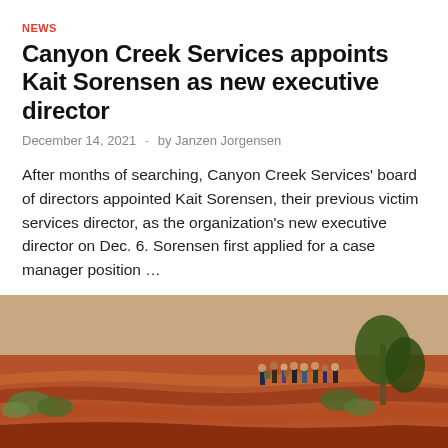NEWS
Canyon Creek Services appoints Kait Sorensen as new executive director
December 14, 2021  -  by Janzen Jorgensen
After months of searching, Canyon Creek Services' board of directors appointed Kait Sorensen, their previous victim services director, as the organization's new executive director on Dec. 6. Sorensen first applied for a case manager position …
READ MORE
[Figure (photo): Group of people hiking on red rock canyon terrain with desert vegetation and trees]